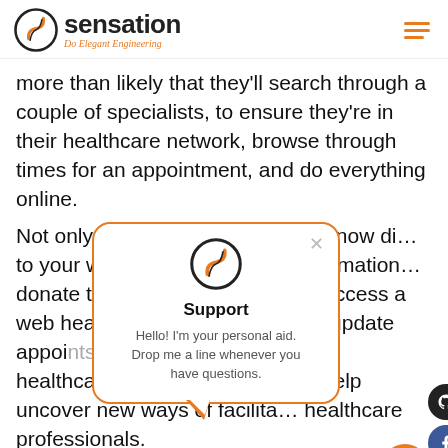sensation — Do Elegant Engineering
more than likely that they'll search through a couple of specialists, to ensure they're in their healthcare network, browse through times for an appointment, and do everything online.
Not only few but many services are now digitally connected to your website to access to-date information, donate to your organization, and access a web health portal where they can update appointments and pay bills. End-to-end healthcare management systems can help uncover new ways of facilitating healthcare professionals.
[Figure (screenshot): Support chat popup with Sensation logo, title 'Support', and message 'Hello! I'm your personal aid. Drop me a line whenever you have questions.']